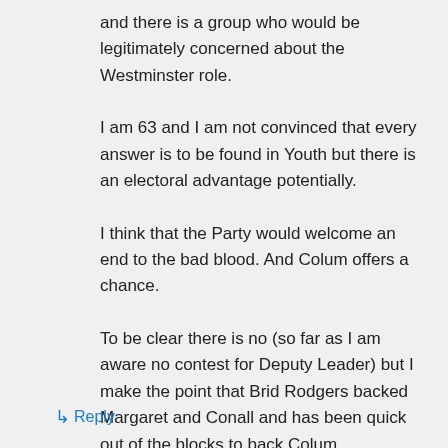and there is a group who would be legitimately concerned about the Westminster role.
I am 63 and I am not convinced that every answer is to be found in Youth but there is an electoral advantage potentially.
I think that the Party would welcome an end to the bad blood. And Colum offers a chance.
To be clear there is no (so far as I am aware no contest for Deputy Leader) but I make the point that Brid Rodgers backed Margaret and Conall and has been quick out of the blocks to back Colum.
↳ Reply